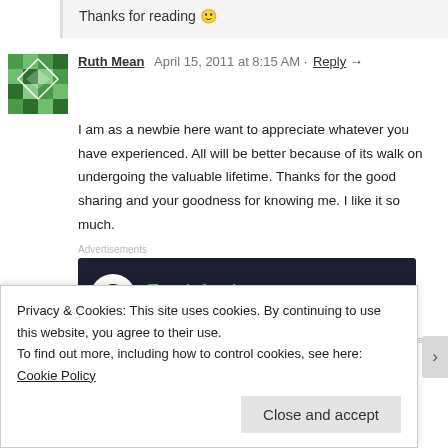Thanks for reading 🙂
Ruth Mean   April 15, 2011 at 8:15 AM   Reply →
I am as a newbie here want to appreciate whatever you have experienced. All will be better because of its walk on undergoing the valuable lifetime. Thanks for the good sharing and your goodness for knowing me. I like it so much.
[Figure (screenshot): Dark advertisement banner for Teach freely: Make money selling online courses, with a tree icon in a white circle on a dark navy background.]
Saroj Thakur   April 15, 2011 at 8:10 AM   Reply →
Privacy & Cookies: This site uses cookies. By continuing to use this website, you agree to their use.
To find out more, including how to control cookies, see here: Cookie Policy
Close and accept